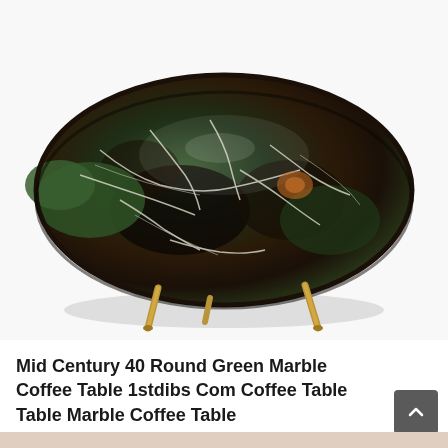[Figure (photo): A round mid-century modern coffee table with a dark green and brown marble top featuring white veining, supported by tapered brass/gold metal legs, photographed against a white background.]
Mid Century 40 Round Green Marble Coffee Table 1stdibs Com Coffee Table Table Marble Coffee Table